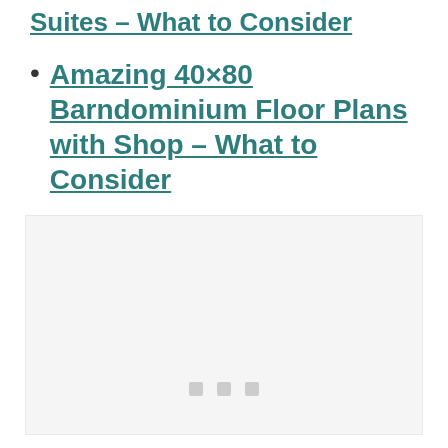Suites – What to Consider
Amazing 40×80 Barndominium Floor Plans with Shop – What to Consider
[Figure (other): Placeholder image area with light gray background and three small square dots centered near the bottom, indicating a loading or advertisement placeholder]